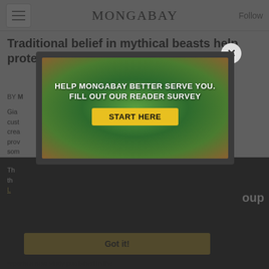MONGABAY   Follow
Traditional belief in mythical beasts help protect forests
BY M...
Gia... cust... crea... prov... som...
Th... th... L...
[Figure (screenshot): Modal popup overlay on Mongabay webpage showing a reader survey advertisement with forest aerial photo. Ad text reads: HELP MONGABAY BETTER SERVE YOU. FILL OUT OUR READER SURVEY. START HERE button. Modal has close X button and Got it! button.]
reports a new study published in the